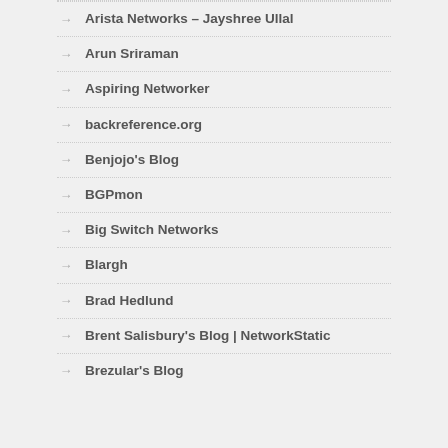Arista Networks – Jayshree Ullal
Arun Sriraman
Aspiring Networker
backreference.org
Benjojo's Blog
BGPmon
Big Switch Networks
Blargh
Brad Hedlund
Brent Salisbury's Blog | NetworkStatic
Brezular's Blog